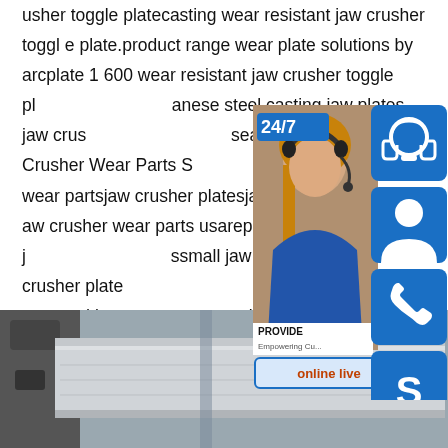usher toggle platecasting wear resistant jaw crusher toggle plate.product range wear plate solutions by arcplate 1 600 wear resistant jaw crusher toggle plate anese steel casting,jaw plates jaw crusher searches for Jaw Crusher Wear Parts S w crusher wear partsjaw crusher platesja aw crusher wear parts usareplacement j ssmall jaw crusherjaw rock crusher plate dSome results are removed in response to a notice of local law requirement.For more information,please see here.
[Figure (photo): Customer service widget showing a female agent with headset, 24/7 badge, phone icon, Skype icon, and online live button]
[Figure (photo): Industrial crusher wear plate or jaw crusher plate viewed from above, showing flat metallic surface]